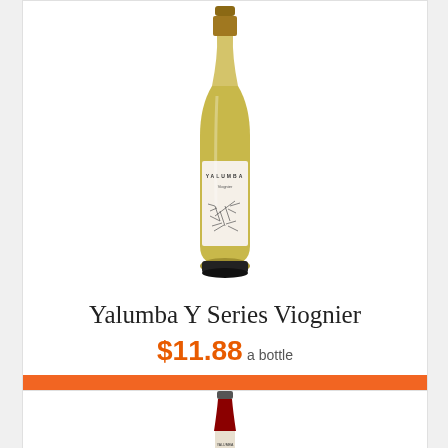[Figure (photo): Yalumba Y Series Viognier wine bottle with gold top and white label featuring a bird illustration]
Yalumba Y Series Viognier
$11.88 a bottle
ADD TO CART
[Figure (photo): Partial view of a second wine bottle, dark top visible at bottom of page]